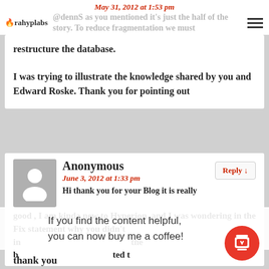Orahyplabs — May 31, 2012 at 1:53 pm
@dennS as you mentioned it's just the half of the story. To reduce fragmentation we must restructure the database.

I was trying to illustrate the knowledge shared by you and Edward Roske. Thank you for pointing out
Anonymous
June 3, 2012 at 1:33 pm
Hi thank you for your Blog it is really good , I am kinda new to Hyperion, and I was wondering in the Fix statement why you didn't include the but wanted to be sure ran know

thank you
If you find the content helpful, you can now buy me a coffee!